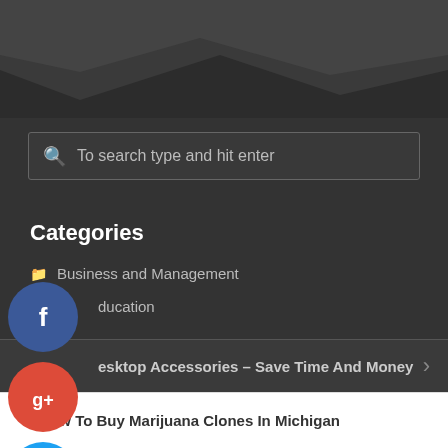[Figure (illustration): Dark grey diagonal/wave header graphic background]
To search type and hit enter
Categories
Business and Management
Education
Health and Fitness
Home and Garden
Legal
esktop Accessories – Save Time And Money
How To Buy Marijuana Clones In Michigan